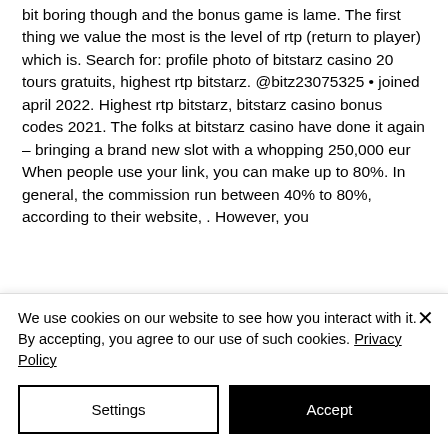bit boring though and the bonus game is lame. The first thing we value the most is the level of rtp (return to player) which is. Search for: profile photo of bitstarz casino 20 tours gratuits, highest rtp bitstarz. @bitz23075325 • joined april 2022. Highest rtp bitstarz, bitstarz casino bonus codes 2021. The folks at bitstarz casino have done it again – bringing a brand new slot with a whopping 250,000 eur  When people use your link, you can make up to 80%. In general, the commission run between 40% to 80%, according to their website, . However, you
We use cookies on our website to see how you interact with it. By accepting, you agree to our use of such cookies. Privacy Policy
Settings
Accept